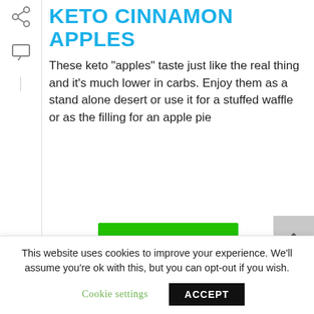KETO CINNAMON APPLES
These keto "apples" taste just like the real thing and it's much lower in carbs. Enjoy them as a stand alone desert or use it for a stuffed waffle or as the filling for an apple pie
[Figure (screenshot): Green READ MORE button]
[Figure (screenshot): Grey scroll-up arrow button and partially visible scroll-down button]
This website uses cookies to improve your experience. We'll assume you're ok with this, but you can opt-out if you wish.
Cookie settings   ACCEPT